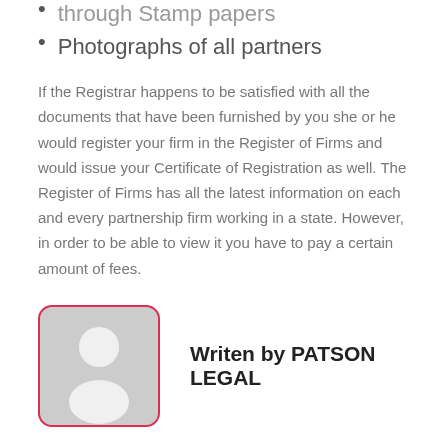through Stamp papers
Photographs of all partners
If the Registrar happens to be satisfied with all the documents that have been furnished by you she or he would register your firm in the Register of Firms and would issue your Certificate of Registration as well. The Register of Firms has all the latest information on each and every partnership firm working in a state. However, in order to be able to view it you have to pay a certain amount of fees.
[Figure (illustration): Generic user avatar placeholder image — a person silhouette (head and shoulders) in white on a gray rounded-rectangle background, framed with a red/pink rounded border.]
Writen by PATSON LEGAL